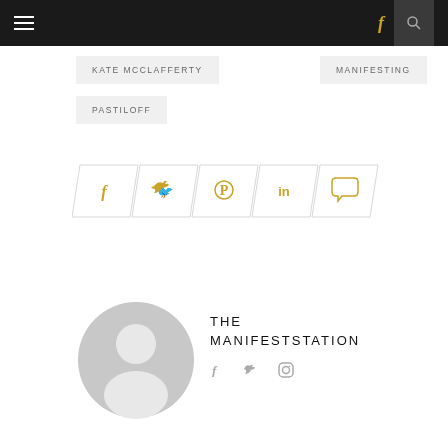Navigation bar with hamburger menu, Facebook icon, and search icon
KATE MCCLAFFERTY
MANIFESTING
PASTILOFF
[Figure (infographic): Social sharing buttons row: Facebook, Twitter, Pinterest, LinkedIn, Comment — each in a parallelogram shape with gold icons]
[Figure (illustration): Gray placeholder avatar/profile image with person silhouette]
THE MANIFESTSTATION
Facebook, Twitter, Instagram social icons